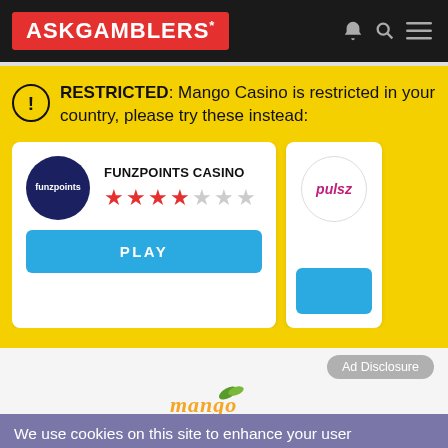ASKGAMBLERS*
RESTRICTED: Mango Casino is restricted in your country, please try these instead:
[Figure (logo): Funzpoints Casino logo – dark navy circle with 'funzpoints' text in white]
FUNZPOINTS CASINO
Star rating: 3.5 out of 7 stars
PLAY
[Figure (logo): Pulsz casino logo – circle with pink italic 'pulsz' text]
Ad Disclosure
[Figure (logo): Mango Casino logo – partial orange mango text with green leaf]
We use cookies on this site to enhance your user experience.
By clicking any link on this page you are giving your consent for us to set cookies.